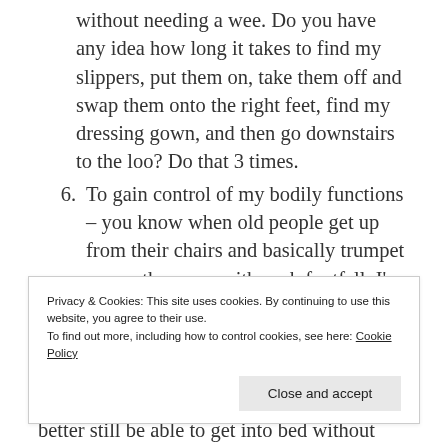without needing a wee. Do you have any idea how long it takes to find my slippers, put them on, take them off and swap them onto the right feet, find my dressing gown, and then go downstairs to the loo? Do that 3 times.
6. To gain control of my bodily functions – you know when old people get up from their chairs and basically trumpet across the room with each footfall. I've been doing that for the last 3 months and I have literally no
Privacy & Cookies: This site uses cookies. By continuing to use this website, you agree to their use.
To find out more, including how to control cookies, see here: Cookie Policy
better still be able to get into bed without